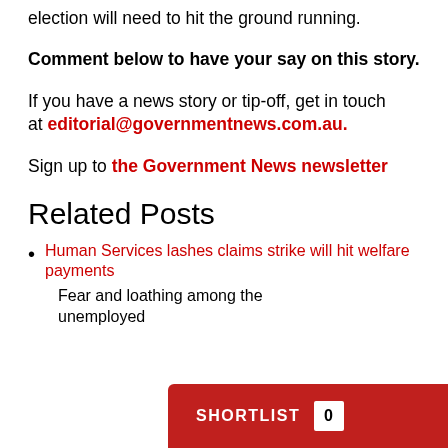election will need to hit the ground running.
Comment below to have your say on this story.
If you have a news story or tip-off, get in touch at editorial@governmentnews.com.au.
Sign up to the Government News newsletter
Related Posts
Human Services lashes claims strike will hit welfare payments
Fear and loathing among the unemployed